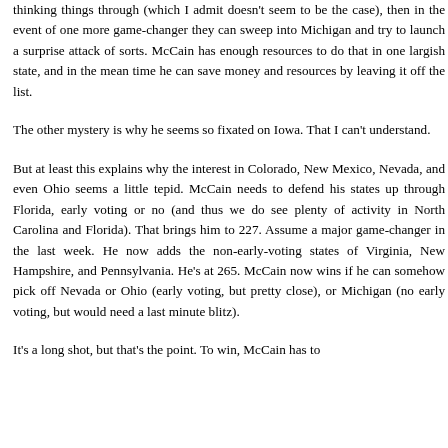thinking things through (which I admit doesn't seem to be the case), then in the event of one more game-changer they can sweep into Michigan and try to launch a surprise attack of sorts. McCain has enough resources to do that in one largish state, and in the mean time he can save money and resources by leaving it off the list.

The other mystery is why he seems so fixated on Iowa. That I can't understand.

But at least this explains why the interest in Colorado, New Mexico, Nevada, and even Ohio seems a little tepid. McCain needs to defend his states up through Florida, early voting or no (and thus we do see plenty of activity in North Carolina and Florida). That brings him to 227. Assume a major game-changer in the last week. He now adds the non-early-voting states of Virginia, New Hampshire, and Pennsylvania. He's at 265. McCain now wins if he can somehow pick off Nevada or Ohio (early voting, but pretty close), or Michigan (no early voting, but would need a last minute blitz).

It's a long shot, but that's the point. To win, McCain has to